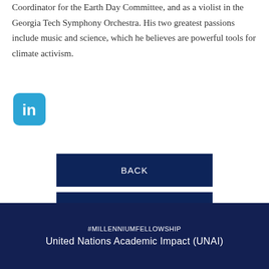Coordinator for the Earth Day Committee, and as a violist in the Georgia Tech Symphony Orchestra. His two greatest passions include music and science, which he believes are powerful tools for climate activism.
[Figure (logo): LinkedIn logo icon — blue rounded square with white 'in' text]
BACK
Apply for the Class of 2022
#MILLENNIUMFELLOWSHIP
United Nations Academic Impact (UNAI)